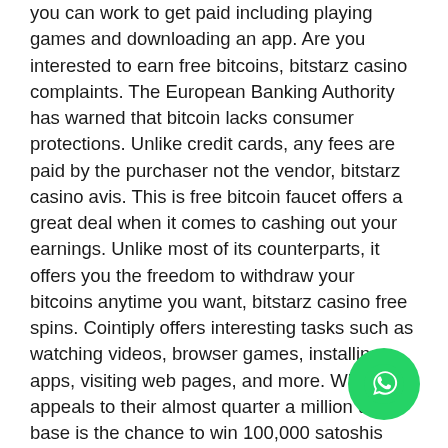you can work to get paid including playing games and downloading an app. Are you interested to earn free bitcoins, bitstarz casino complaints. The European Banking Authority has warned that bitcoin lacks consumer protections. Unlike credit cards, any fees are paid by the purchaser not the vendor, bitstarz casino avis. This is free bitcoin faucet offers a great deal when it comes to cashing out your earnings. Unlike most of its counterparts, it offers you the freedom to withdraw your bitcoins anytime you want, bitstarz casino free spins. Cointiply offers interesting tasks such as watching videos, browser games, installing apps, visiting web pages, and more. What appeals to their almost quarter a million user base is the chance to win 100,000 satoshis with every faucet spin, bitstarz casino free spins. Firstly, there should be a minimum 5 minute interval between two claims per account per IP address. Secondly, the user needs a
[Figure (other): WhatsApp contact button (green circular button with WhatsApp logo)]